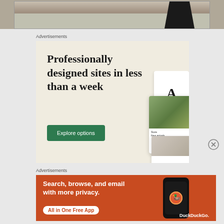[Figure (photo): Partial photo showing feet in black ankle boots standing on stone/gravel ground]
Advertisements
[Figure (infographic): Advertisement for website builder: 'Professionally designed sites in less than a week' with 'Explore options' button and website mockup screenshots on cream/beige background]
Advertisements
[Figure (infographic): DuckDuckGo advertisement on orange/red background: 'Search, browse, and email with more privacy. All in One Free App' with phone mockup showing DuckDuckGo logo and brand name]